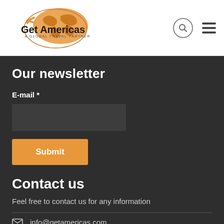Get Americas — A Global Travel Partner
Our newsletter
E-mail *
Contact us
Feel free to contact us for any information
info@getamericas.com